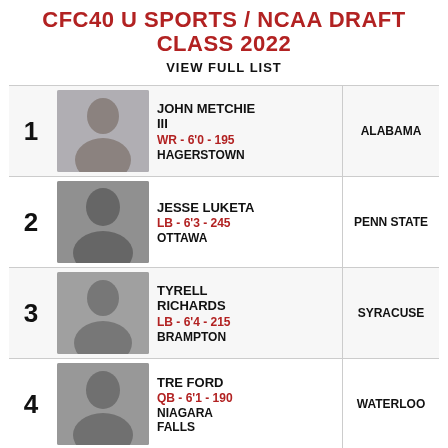CFC40 U SPORTS / NCAA DRAFT CLASS 2022
VIEW FULL LIST
1 | JOHN METCHIE III | WR - 6'0 - 195 | HAGERSTOWN | ALABAMA
2 | JESSE LUKETA | LB - 6'3 - 245 | OTTAWA | PENN STATE
3 | TYRELL RICHARDS | LB - 6'4 - 215 | BRAMPTON | SYRACUSE
4 | TRE FORD | QB - 6'1 - 190 | NIAGARA FALLS | WATERLOO